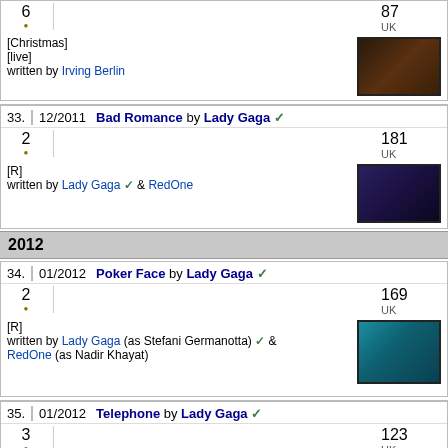| 6 |  |  |  |  | 87 UK |
[Christmas]
[live]
written by Irving Berlin
| 33. | 12/2011 | Bad Romance by Lady Gaga |
| --- | --- | --- |
| 2 |  |  |  |  | 181 UK |
| [R] | written by Lady Gaga & RedOne |  |
2012
| 34. | 01/2012 | Poker Face by Lady Gaga |
| --- | --- | --- |
| 2 |  |  |  |  | 169 UK |
| [R] | written by Lady Gaga (as Stefani Germanotta) & RedOne (as Nadir Khayat) |  |
| 35. | 01/2012 | Telephone by Lady Gaga |
| --- | --- | --- |
| 3 |  |  |  |  | 123 UK |
| featuring Beyoncé | [R] | written by Lady Gaga, Rodney Jerkins, LaShawn |